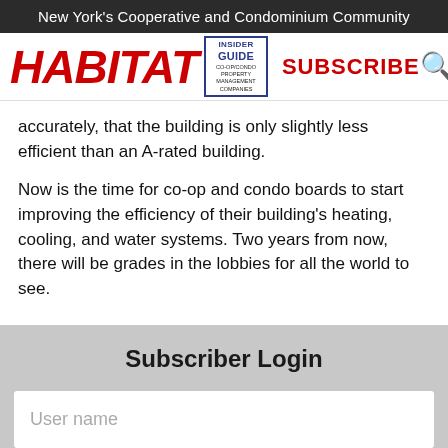New York's Cooperative and Condominium Community
[Figure (screenshot): Habitat magazine navigation bar with logo, Insider Guide book image, Subscribe link, search icon, and hamburger menu icon]
accurately, that the building is only slightly less efficient than an A-rated building.
Now is the time for co-op and condo boards to start improving the efficiency of their building's heating, cooling, and water systems. Two years from now, there will be grades in the lobbies for all the world to see.
Subscriber Login
User name
Your Password